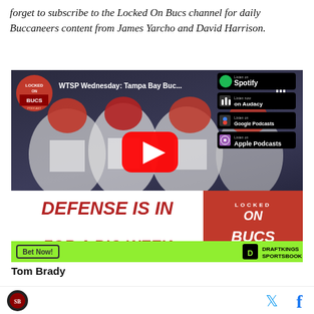forget to subscribe to the Locked On Bucs channel for daily Buccaneers content from James Yarcho and David Harrison.
[Figure (screenshot): Video thumbnail for 'WTSP Wednesday: Tampa Bay Buc...' — Locked On Bucs Podcast episode. Shows Tampa Bay Buccaneers football players in white uniforms, a YouTube play button overlay, text reading 'DEFENSE IS IN FOR A BIG WEEK', Locked On Bucs Podcast logo, and streaming badges for Spotify, Audacy, Google Podcasts, and Apple Podcasts. Below the video is a DraftKings Sportsbook advertisement bar with 'Bet Now!' button.]
Tom Brady